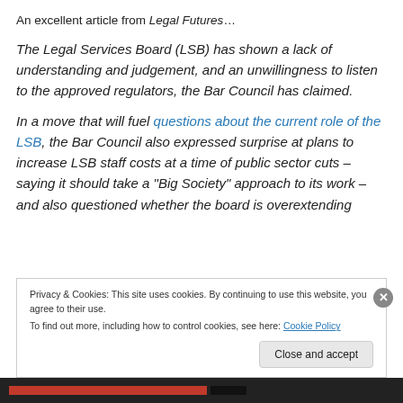An excellent article from Legal Futures…
The Legal Services Board (LSB) has shown a lack of understanding and judgement, and an unwillingness to listen to the approved regulators, the Bar Council has claimed.
In a move that will fuel questions about the current role of the LSB, the Bar Council also expressed surprise at plans to increase LSB staff costs at a time of public sector cuts – saying it should take a “Big Society” approach to its work – and also questioned whether the board is overextending
Privacy & Cookies: This site uses cookies. By continuing to use this website, you agree to their use.
To find out more, including how to control cookies, see here: Cookie Policy